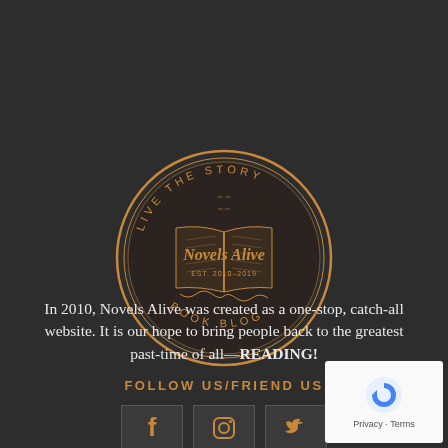[Figure (logo): Circular gold logo for Novels Alive book blog. Outer ring text reads 'LIVE THE STORY' at top and 'BOOK BLOG' at bottom. Center shows an open book with script text 'Novels Alive' overlaid. Est. 2010-2019.]
In 2010, Novels Alive was created as a one-stop, catch-all website. It is our hope to bring people back to the greatest past-time of all—READING!
FOLLOW US/FRIEND US
[Figure (illustration): Three social media icon buttons: Facebook (f), Instagram (camera), Twitter (bird), displayed as dark boxes with gold icons.]
[Figure (other): Google reCAPTCHA badge in bottom right corner showing reCAPTCHA logo with Privacy and Terms links.]